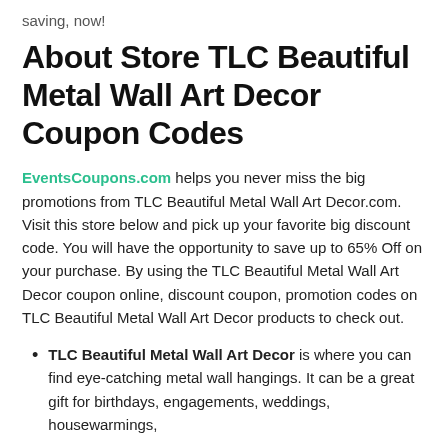saving, now!
About Store TLC Beautiful Metal Wall Art Decor Coupon Codes
EventsCoupons.com helps you never miss the big promotions from TLC Beautiful Metal Wall Art Decor.com. Visit this store below and pick up your favorite big discount code. You will have the opportunity to save up to 65% Off on your purchase. By using the TLC Beautiful Metal Wall Art Decor coupon online, discount coupon, promotion codes on TLC Beautiful Metal Wall Art Decor products to check out.
TLC Beautiful Metal Wall Art Decor is where you can find eye-catching metal wall hangings. It can be a great gift for birthdays, engagements, weddings, housewarmings,